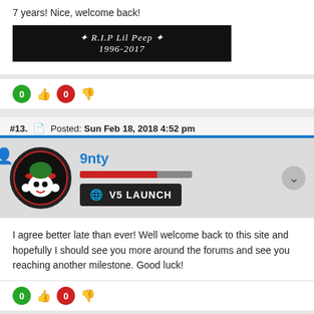7 years! Nice, welcome back!
[Figure (illustration): Black banner image with Gothic text reading 'R.I.P Lil Peep 1996-2017' with decorative elements]
0 (thumbs up) 0 (thumbs down)
#13. Posted: Sun Feb 18, 2018 4:52 pm
9nty — V5 LAUNCH badge — user avatar
I agree better late than ever! Well welcome back to this site and hopefully I should see you more around the forums and see you reaching another milestone. Good luck!
0 (thumbs up) 0 (thumbs down)